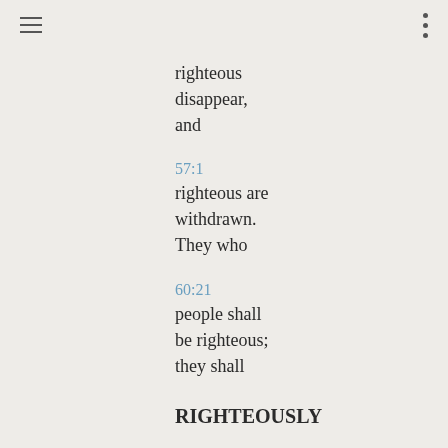≡  ⋮
righteous disappear, and
57:1
righteous are withdrawn. They who
60:21
people shall be righteous; they shall
RIGHTEOUSLY
33:15
conduct themselves righteously and
RIGHTEOUSNESS